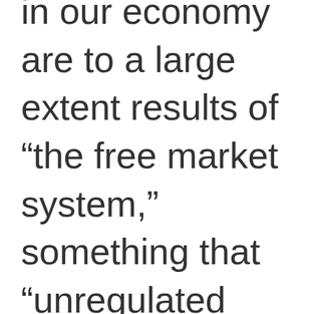in our economy are to a large extent results of “the free market system,” something that “unregulated